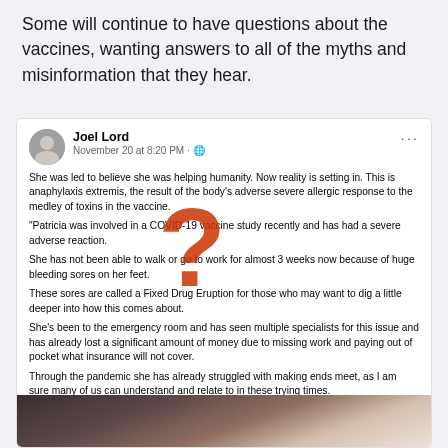Some will continue to have questions about the vaccines, wanting answers to all of the myths and misinformation that they hear.
[Figure (screenshot): Facebook post by Joel Lord, November 20 at 8:20 PM, describing a woman who had a severe adverse reaction to a COVID-19 vaccine study, with a red question mark graphic overlaid. Post includes text about anaphylaxis, Fixed Drug Eruption, financial hardship, and a GoFundMe link for Patricia Chandler.]
[Figure (photo): Partial view of a dark-toned photograph at the bottom of the card, showing what appears to be a document or card on a dark surface.]